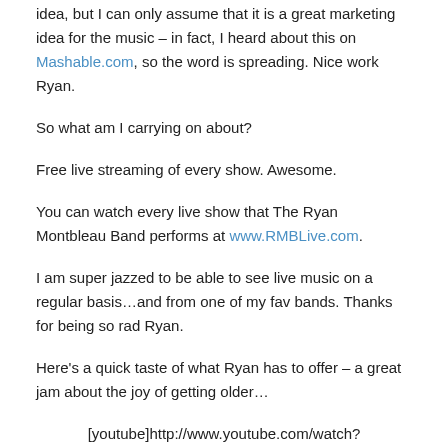idea, but I can only assume that it is a great marketing idea for the music – in fact, I heard about this on Mashable.com, so the word is spreading. Nice work Ryan.
So what am I carrying on about?
Free live streaming of every show. Awesome.
You can watch every live show that The Ryan Montbleau Band performs at www.RMBLive.com.
I am super jazzed to be able to see live music on a regular basis…and from one of my fav bands. Thanks for being so rad Ryan.
Here's a quick taste of what Ryan has to offer – a great jam about the joy of getting older…
[youtube]http://www.youtube.com/watch?v=pM8fHHvsLpw[/youtube]
Posted in Cool, Music | Tagged Live, music, RMBlive.com,